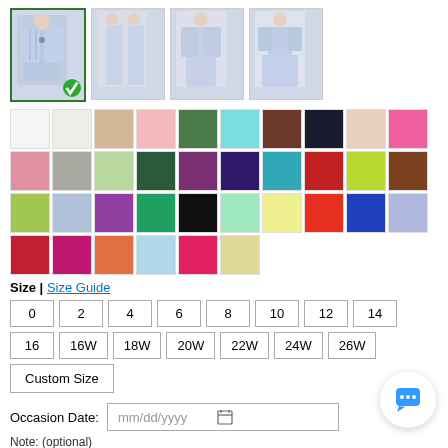[Figure (photo): Four product thumbnail images of a dress/jacket set in lavender/blue. First thumbnail is selected with a green checkmark border.]
[Figure (photo): Grid of fabric color swatches showing approximately 36 color options including white, ivory, champagne, pink, green, teal, brown, black, nude, hot pink, blush, gray, sage, dark green, purple, navy, turquoise, red, yellow-green, chocolate, lime, periwinkle, violet, emerald, black, mint, yellow, orange-red, royal blue, lavender, dark red, fuchsia, orange, light blue, bright red, champagne.]
Size | Size Guide
0
2
4
6
8
10
12
14
16
16W
18W
20W
22W
24W
26W
Custom Size
Occasion Date:  mm/dd/yyyy
Note: (optional)